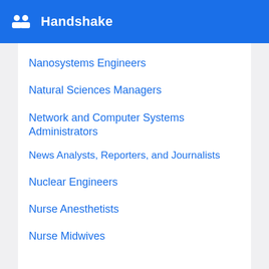Handshake
Nanosystems Engineers
Natural Sciences Managers
Network and Computer Systems Administrators
News Analysts, Reporters, and Journalists
Nuclear Engineers
Nurse Anesthetists
Nurse Midwives